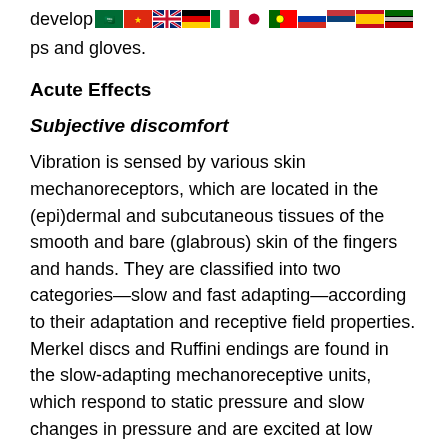develop…ps and gloves.
Acute Effects
Subjective discomfort
Vibration is sensed by various skin mechanoreceptors, which are located in the (epi)dermal and subcutaneous tissues of the smooth and bare (glabrous) skin of the fingers and hands. They are classified into two categories—slow and fast adapting—according to their adaptation and receptive field properties. Merkel discs and Ruffini endings are found in the slow-adapting mechanoreceptive units, which respond to static pressure and slow changes in pressure and are excited at low frequency (<16 Hz). Fast-adapting units have Meissner's corpuscles and Pacinian corpuscles, which respond to rapid changes in stimulus and are responsible for vibratory sensation in the frequency range between 8 and 400 Hz. The subjective response to hand-transmitted vibration has been